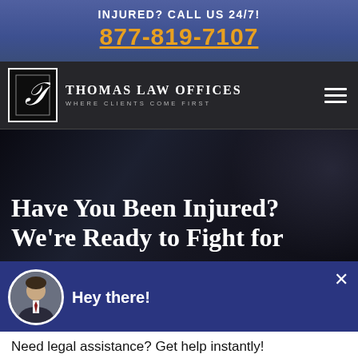INJURED? CALL US 24/7!
877-819-7107
[Figure (logo): Thomas Law Offices logo with stylized T in a bordered box and firm name with tagline 'Where Clients Come First']
Have You Been Injured? We're Ready to Fight for
[Figure (photo): Chat popup with attorney avatar showing man in suit with red tie, text 'Hey there!' and 'Need legal assistance? Get help instantly!']
FREE CASE EVALUATION